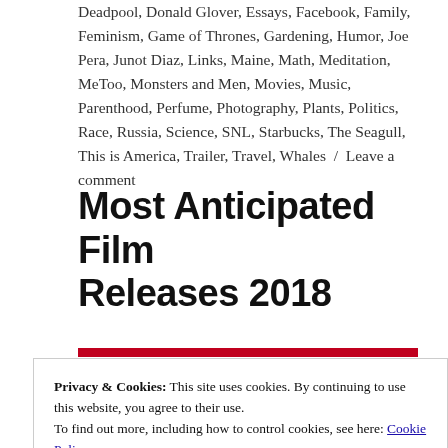Deadpool, Donald Glover, Essays, Facebook, Family, Feminism, Game of Thrones, Gardening, Humor, Joe Pera, Junot Diaz, Links, Maine, Math, Meditation, MeToo, Monsters and Men, Movies, Music, Parenthood, Perfume, Photography, Plants, Politics, Race, Russia, Science, SNL, Starbucks, The Seagull, This is America, Trailer, Travel, Whales / Leave a comment
Most Anticipated Film Releases 2018
Privacy & Cookies: This site uses cookies. By continuing to use this website, you agree to their use.
To find out more, including how to control cookies, see here: Cookie Policy
Close and accept